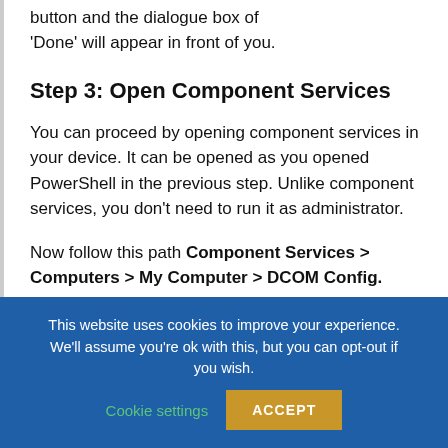button and the dialogue box of 'Done' will appear in front of you.
Step 3: Open Component Services
You can proceed by opening component services in your device. It can be opened as you opened PowerShell in the previous step. Unlike component services, you don't need to run it as administrator.
Now follow this path Component Services > Computers > My Computer > DCOM Config.
This website uses cookies to improve your experience. We'll assume you're ok with this, but you can opt-out if you wish. Cookie settings ACCEPT